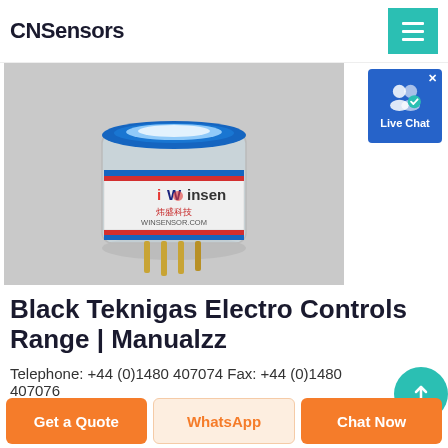CNSensors
[Figure (photo): A Winsen brand electrochemical gas sensor module with transparent cylindrical housing, labeled with Chinese characters (炜盛科技) and WINSENSOR.COM, with gold-plated pins at the bottom.]
Black Teknigas Electro Controls Range | Manualzz
Telephone: +44 (0)1480 407074 Fax: +44 (0)1480 407076